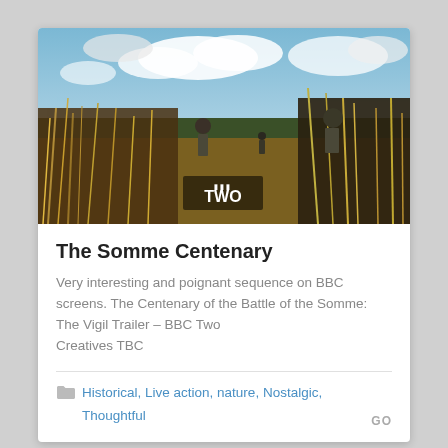[Figure (photo): Outdoor scene with soldiers or figures walking through tall grass in a field under a partly cloudy sky. BBC TWO logo visible in the lower center of the image.]
The Somme Centenary
Very interesting and poignant sequence on BBC screens. The Centenary of the Battle of the Somme: The Vigil Trailer – BBC Two
Creatives TBC
Historical, Live action, nature, Nostalgic, Thoughtful